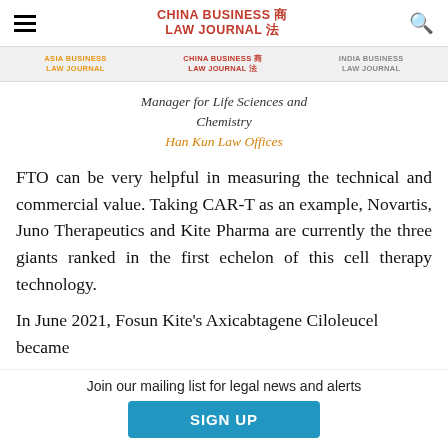China Business Law Journal
Asia Business Law Journal | China Business Law Journal | India Business Law Journal
Manager for Life Sciences and Chemistry
Han Kun Law Offices
FTO can be very helpful in measuring the technical and commercial value. Taking CAR-T as an example, Novartis, Juno Therapeutics and Kite Pharma are currently the three giants ranked in the first echelon of this cell therapy technology.
In June 2021, Fosun Kite's Axicabtagene Ciloleucel became
Join our mailing list for legal news and alerts
SIGN UP